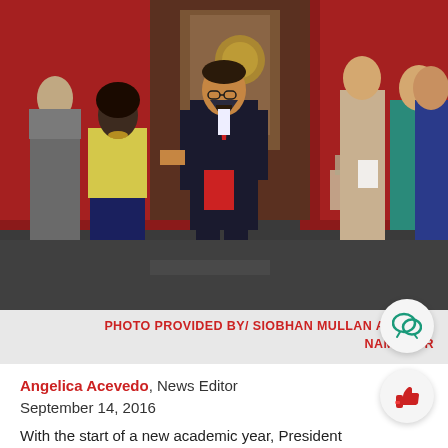[Figure (photo): A man in a dark suit with a red tie holding a red folder walks down an aisle at an event, with people seated and standing around him. A woman in a yellow jacket and navy dress walks behind him. Red curtains and banners are visible in the background.]
PHOTO PROVIDED BY/ SIOBHAN MULLAN AND JAD NAMMOUR
Angelica Acevedo, News Editor
September 14, 2016
With the start of a new academic year, President Conrado “Bobby” Gempesaw emphasized the importance of student success by introducing hi…